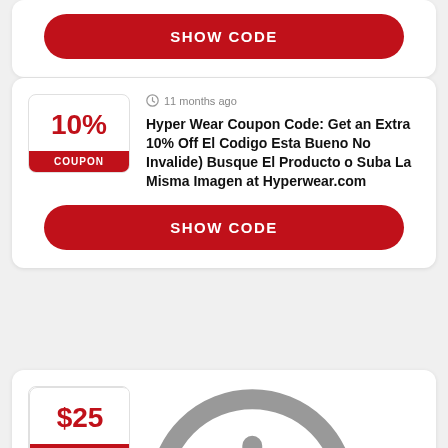SHOW CODE
11 months ago
Hyper Wear Coupon Code: Get an Extra 10% Off El Codigo Esta Bueno No Invalide) Busque El Producto o Suba La Misma Imagen at Hyperwear.com
SHOW CODE
11 months ago
Hyper Wear Coupon Code: Get $25 Off $200 or More